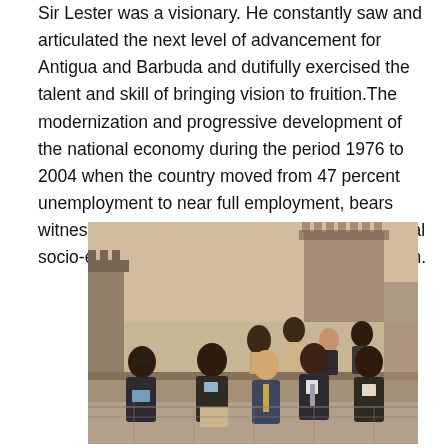Sir Lester was a visionary. He constantly saw and articulated the next level of advancement for Antigua and Barbuda and dutifully exercised the talent and skill of bringing vision to fruition. The modernization and progressive development of the national economy during the period 1976 to 2004 when the country moved from 47 percent unemployment to near full employment, bears witness to the transformation of his vision into real socio-economic benefits for our twin-island nation.
[Figure (photo): Group photo of approximately 9 people standing in front of the Great Wall of China. They are arranged in two rows. The setting shows the stone wall and watchtower of the Great Wall in the background with muted, overcast sky.]